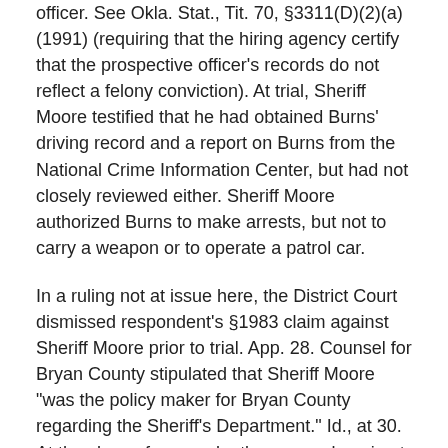officer. See Okla. Stat., Tit. 70, §3311(D)(2)(a) (1991) (requiring that the hiring agency certify that the prospective officer's records do not reflect a felony conviction). At trial, Sheriff Moore testified that he had obtained Burns' driving record and a report on Burns from the National Crime Information Center, but had not closely reviewed either. Sheriff Moore authorized Burns to make arrests, but not to carry a weapon or to operate a patrol car.
In a ruling not at issue here, the District Court dismissed respondent's §1983 claim against Sheriff Moore prior to trial. App. 28. Counsel for Bryan County stipulated that Sheriff Moore "was the policy maker for Bryan County regarding the Sheriff's Department." Id., at 30. At the close of respondent's case and again at the close of all of the evidence, Bryan County moved for judgment as a matter of law. As to respondent's claim that Sheriff Moore's decision to hire Burns triggered municipal liability, the county argued